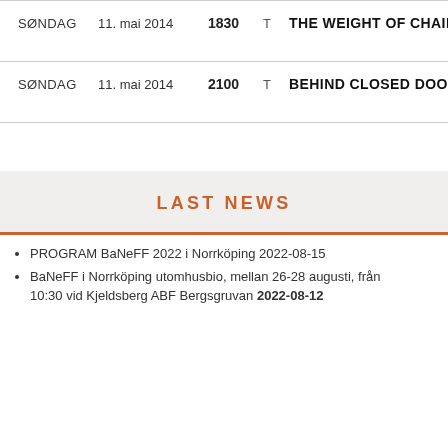| Day | Date | Time | Type | Title |
| --- | --- | --- | --- | --- |
| SØNDAG | 11. mai 2014 | 1830 | T | THE WEIGHT OF CHAINS |
| SØNDAG | 11. mai 2014 | 2100 | T | BEHIND CLOSED DOORS |
LAST NEWS
PROGRAM BaNeFF 2022 i Norrköping 2022-08-15
BaNeFF i Norrköping utomhusbio, mellan 26-28 augusti, från 10:30 vid Kjeldsberg ABF Bergsgruvan 2022-08-12